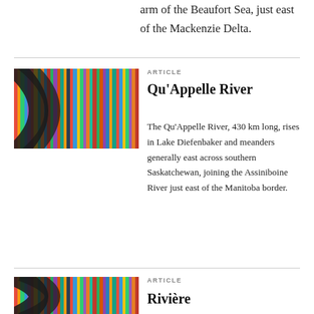arm of the Beaufort Sea, just east of the Mackenzie Delta.
[Figure (photo): Close-up photo of colorful book spines on a shelf with a curved dark frame element]
ARTICLE
Qu'Appelle River
The Qu'Appelle River, 430 km long, rises in Lake Diefenbaker and meanders generally east across southern Saskatchewan, joining the Assiniboine River just east of the Manitoba border.
[Figure (photo): Close-up photo of colorful book spines on a shelf with a curved dark frame element]
ARTICLE
Rivière